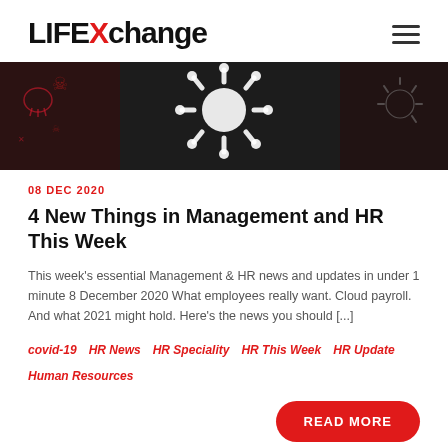LIFEXCHANGE
[Figure (illustration): Dark banner image with coronavirus/COVID-19 virus particle icons and skull-and-crossbones motifs on a dark red and black background]
08 DEC 2020
4 New Things in Management and HR This Week
This week's essential Management & HR news and updates in under 1 minute 8 December 2020 What employees really want. Cloud payroll. And what 2021 might hold. Here's the news you should [...]
covid-19   HR News   HR Speciality   HR This Week   HR Update   Human Resources
READ MORE